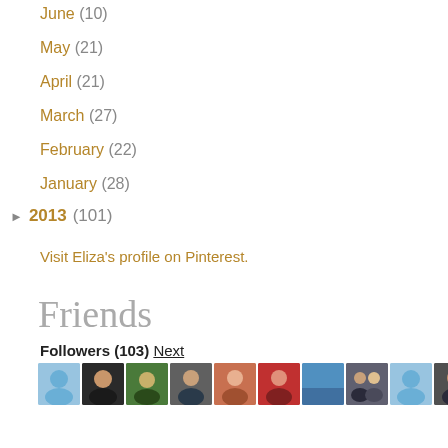June (10)
May (21)
April (21)
March (27)
February (22)
January (28)
► 2013 (101)
Visit Eliza's profile on Pinterest.
Friends
Followers (103) Next
[Figure (photo): Row of 10 follower profile photos/avatars]